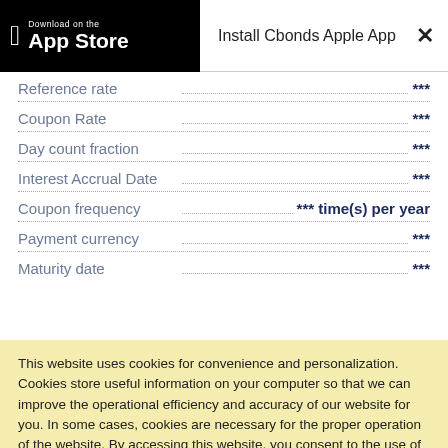[Figure (screenshot): App Store download banner with Apple logo, 'Install Cbonds Apple App' title, and close button (×)]
| Parameter | Value |
| --- | --- |
| Reference rate | *** |
| Coupon Rate | *** |
| Day count fraction | *** |
| Interest Accrual Date | *** |
| Coupon frequency | *** time(s) per year |
| Payment currency | *** |
| Maturity date | *** |
This website uses cookies for convenience and personalization. Cookies store useful information on your computer so that we can improve the operational efficiency and accuracy of our website for you. In some cases, cookies are necessary for the proper operation of the website. By accessing this website, you consent to the use of cookies.
Ok